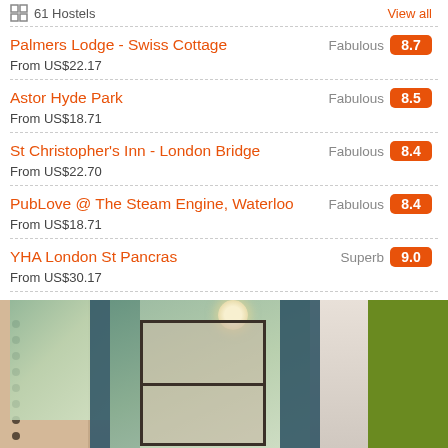61 Hostels  View all
Palmers Lodge - Swiss Cottage | Fabulous 8.7 | From US$22.17
Astor Hyde Park | Fabulous 8.5 | From US$18.71
St Christopher's Inn - London Bridge | Fabulous 8.4 | From US$22.70
PubLove @ The Steam Engine, Waterloo | Fabulous 8.4 | From US$18.71
YHA London St Pancras | Superb 9.0 | From US$30.17
[Figure (photo): Interior of a hostel room showing bunk beds, large windows with green trees outside, teal curtains, a ceiling lamp, and a green panel on the right side]